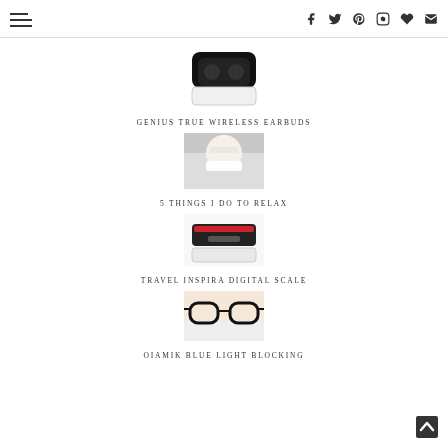Navigation menu and social icons (Facebook, Twitter, Pinterest, Instagram, Heart, Email)
[Figure (photo): Black wireless earbuds case, top open showing earbuds, white background]
GENIUS TRUE WIRELESS EARBUDS
[Figure (photo): Person lying down relaxing, wearing white mask, eyes closed]
5 THINGS I DO TO RELAX
[Figure (photo): Travel Inspira digital scale device, black with red accent, on white background]
TRAVEL INSPIRA DIGITAL SCALE
[Figure (photo): Blue light blocking glasses, black frames, on light background]
OIAMIK BLUE LIGHT BLOCKING